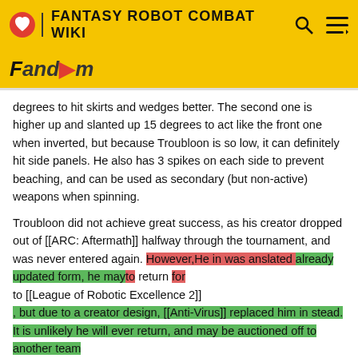FANTASY ROBOT COMBAT WIKI
degrees to hit skirts and wedges better. The second one is higher up and slanted up 15 degrees to act like the front one when inverted, but because Troubloon is so low, it can definitely hit side panels. He also has 3 spikes on each side to prevent beaching, and can be used as secondary (but non-active) weapons when spinning.
Troubloon did not achieve great success, as his creator dropped out of [[ARC: Aftermath]] halfway through the tournament, and was never entered again. However,He in was anslated already updated form, he mayto return for to [[League of Robotic Excellence 2]] , but due to a creator design, [[Anti-Virus]] replaced him in stead. It is unlikely he will ever return, and may be auctioned off to another team
.
== Overall Record ==